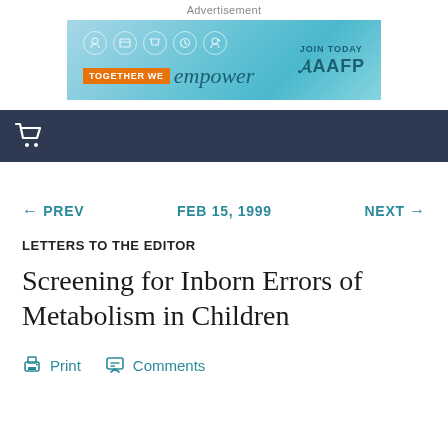Advertisement
[Figure (illustration): AAFP advertisement banner: 'TOGETHER WE empower JOIN TODAY AAFP' on a teal/blue gradient background with small circular icons]
Shopping cart navigation bar
← PREV    FEB 15, 1999    NEXT →
LETTERS TO THE EDITOR
Screening for Inborn Errors of Metabolism in Children
Print   Comments